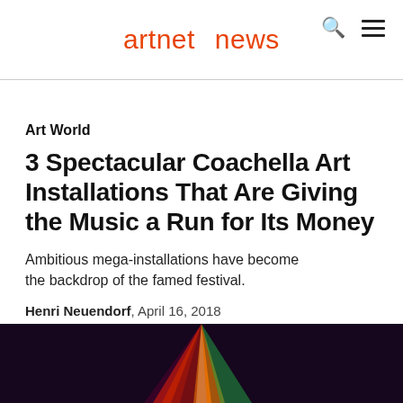artnet news
Art World
3 Spectacular Coachella Art Installations That Are Giving the Music a Run for Its Money
Ambitious mega-installations have become the backdrop of the famed festival.
Henri Neuendorf, April 16, 2018
[Figure (photo): Dark background image showing colorful light rays in red, orange, and green at bottom of page]